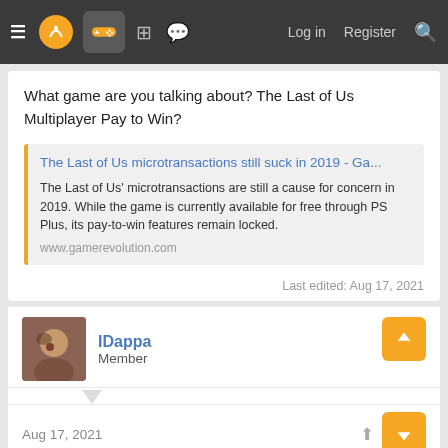Navigation bar with logo, controller icon, forum icons, Log in, Register, Search
What game are you talking about? The Last of Us Multiplayer Pay to Win?
[Figure (screenshot): Link preview card: 'The Last of Us microtransactions still suck in 2019 - Ga...' with description and URL www.gamerevolution.com]
Last edited: Aug 17, 2021
IDappa
Member
Aug 17, 2021
Men_in_Boxes said: